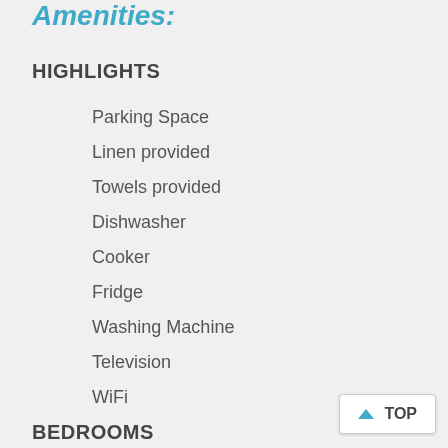Amenities:
HIGHLIGHTS
Parking Space
Linen provided
Towels provided
Dishwasher
Cooker
Fridge
Washing Machine
Television
WiFi
BEDROOMS